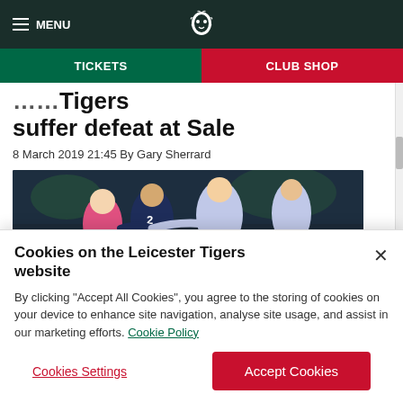MENU | Leicester Tigers logo | TICKETS | CLUB SHOP
...match report: Tigers suffer defeat at Sale
8 March 2019 21:45 By Gary Sherrard
[Figure (photo): Rugby match action photo showing players in a tackle/ruck situation, with a player in pink jersey and players in dark navy and white/purple jerseys]
Cookies on the Leicester Tigers website
By clicking “Accept All Cookies”, you agree to the storing of cookies on your device to enhance site navigation, analyse site usage, and assist in our marketing efforts. Cookie Policy
Cookies Settings | Accept Cookies